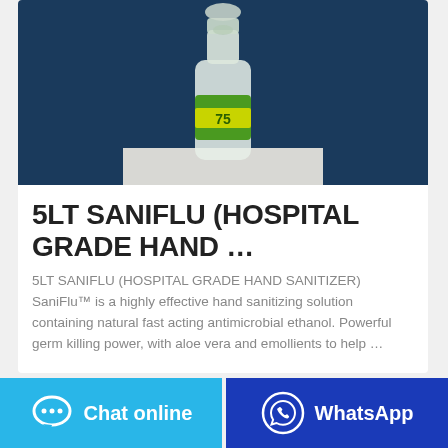[Figure (photo): Photo of a 5LT SaniFlu hand sanitizer bottle with green and yellow label, open flip-top cap, against a dark navy background]
5LT SANIFLU (HOSPITAL GRADE HAND …
5LT SANIFLU (HOSPITAL GRADE HAND SANITIZER) SaniFlu™ is a highly effective hand sanitizing solution containing natural fast acting antimicrobial ethanol. Powerful germ killing power, with aloe vera and emollients to help …
Chat online
WhatsApp